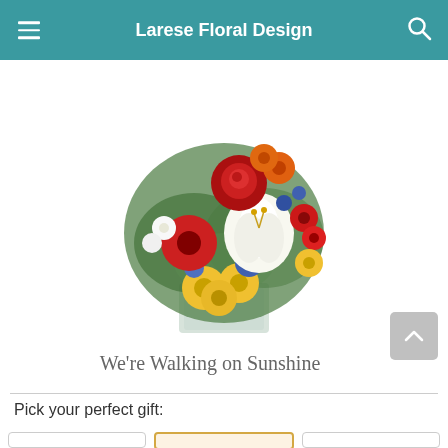Larese Floral Design
[Figure (photo): A colorful flower bouquet arrangement in a square glass vase, featuring red roses, red gerbera daisies, yellow daisies, white lilies, orange flowers, blue thistles, and green foliage.]
We're Walking on Sunshine
Pick your perfect gift: